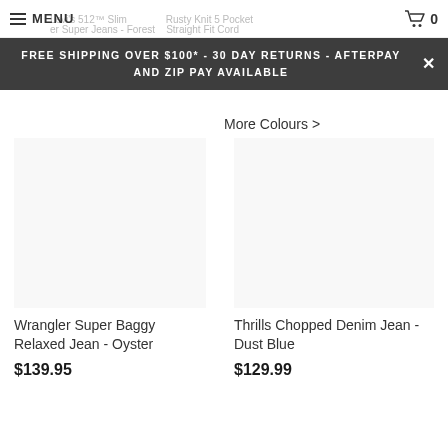MENU | 0
FREE SHIPPING OVER $100* - 30 DAY RETURNS - AFTERPAY AND ZIP PAY AVAILABLE
More Colours >
Wrangler Super Baggy Relaxed Jean - Oyster
$139.95
Thrills Chopped Denim Jean - Dust Blue
$129.99